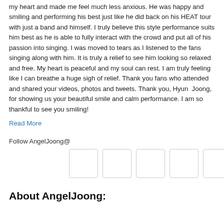my heart and made me feel much less anxious. He was happy and smiling and performing his best just like he did back on his HEAT tour with just a band and himself. I truly believe this style performance suits him best as he is able to fully interact with the crowd and put all of his passion into singing. I was moved to tears as I listened to the fans singing along with him. It is truly a relief to see him looking so relaxed and free. My heart is peaceful and my soul can rest. I am truly feeling like I can breathe a huge sigh of relief. Thank you fans who attended and shared your videos, photos and tweets. Thank you, Hyun Joong, for showing us your beautiful smile and calm performance. I am so thankful to see you smiling!
Read More
Follow AngelJoong@
[Figure (other): Six social media icon placeholder boxes arranged in a horizontal row]
About AngelJoong: